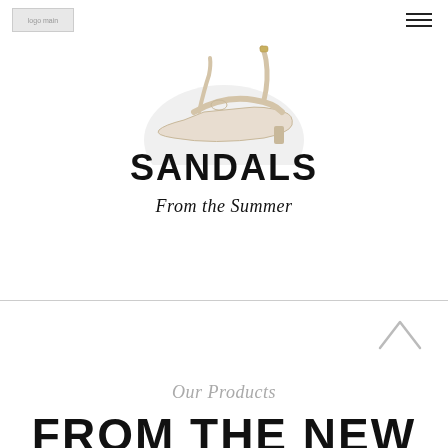logo main | navigation menu
[Figure (photo): Sandals product photo on a light circular background, showing gold/white strappy sandals from above]
SANDALS
From the Summer
Our Products
FROM THE NEW